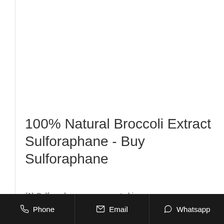100% Natural Broccoli Extract Sulforaphane - Buy Sulforaphane
(1) Sulforaphane can prevent skin cancer and...
Phone  Email  Whatsapp